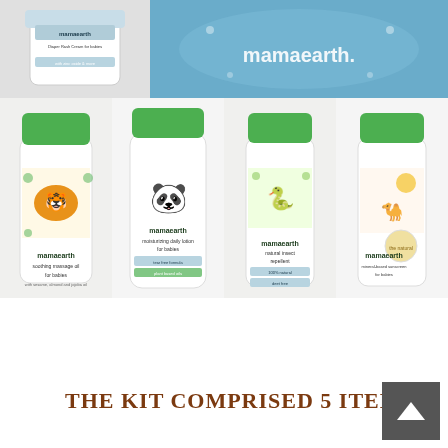[Figure (photo): Mamaearth product collage showing a diaper rash cream jar (top left), a blue mamaearth branded bag (top right), and four products in the bottom row: soothing massage oil for babies with tiger label, moisturizing daily lotion for babies with panda label, natural insect repellent with snake label, and a mineral-based sunscreen for babies with animal label. All products have green caps and white bottles with colorful animal illustrations.]
THE KIT COMPRISED 5 ITEMS: